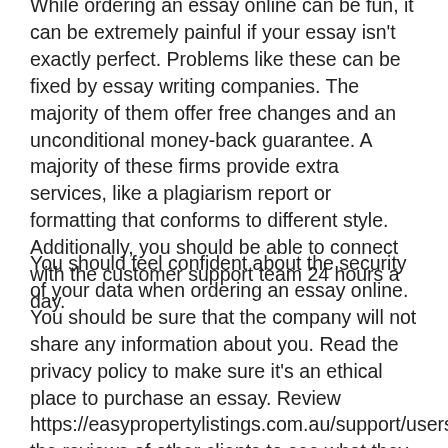While ordering an essay online can be fun, it can be extremely painful if your essay isn't exactly perfect. Problems like these can be fixed by essay writing companies. The majority of them offer free changes and an unconditional money-back guarantee. A majority of these firms provide extra services, like a plagiarism report or formatting that conforms to different style. Additionally, you should be able to connect with the customer support team 24 hours a day.
You should feel confident about the security of your data when ordering an essay online. You should be sure that the company will not share any information about you. Read the privacy policy to make sure it's an ethical place to purchase an essay. Review https://easypropertylistings.com.au/support/users/oliviasm the reviews of other clients to see what they have to write about their experience. It's important to locate an organization that can provide quality service at a cost that is reasonable. Buy your essay today, make sure to select the one that best suits the